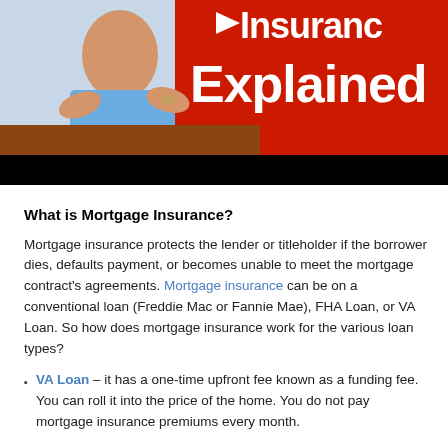[Figure (screenshot): YouTube-style video thumbnail showing a man in a blue polo shirt gesturing with his hands at a desk, with a red background on the right side displaying white bold text 'Insurance Explained' partially cropped. Below the image is a black bar (video player control bar).]
What is Mortgage Insurance?
Mortgage insurance protects the lender or titleholder if the borrower dies, defaults payment, or becomes unable to meet the mortgage contract's agreements. Mortgage insurance can be on a conventional loan (Freddie Mac or Fannie Mae), FHA Loan, or VA Loan. So how does mortgage insurance work for the various loan types?
VA Loan – it has a one-time upfront fee known as a funding fee. You can roll it into the price of the home. You do not pay mortgage insurance premiums every month.